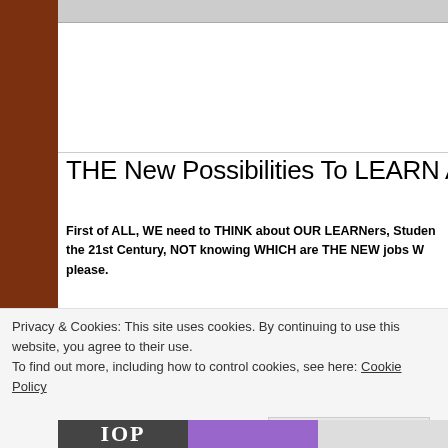THE New Possibilities To LEARN AND Teach
First of ALL, WE need to THINK about OUR LEARNers, Students in the 21st Century, NOT knowing WHICH are THE NEW jobs W please.
[Figure (other): Advertisement: Overcast podcast app logo and text 'The go-to app for podcast lovers.']
Privacy & Cookies: This site uses cookies. By continuing to use this website, you agree to their use.
To find out more, including how to control cookies, see here: Cookie Policy
Close and accept